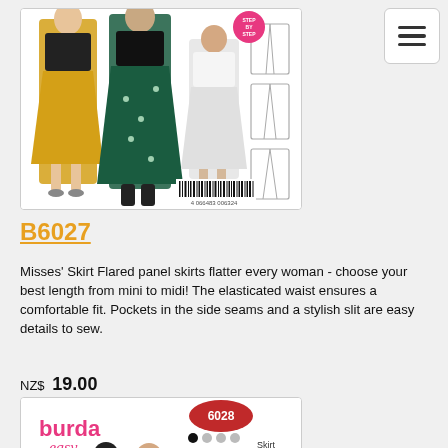[Figure (photo): Sewing pattern package image for Burda B6027 showing women wearing flared panel skirts in different lengths (mini to midi), with line drawings of the pattern pieces on the right side and a barcode at the bottom]
B6027
Misses' Skirt Flared panel skirts flatter every woman - choose your best length from mini to midi! The elasticated waist ensures a comfortable fit. Pockets in the side seams and a stylish slit are easy details to sew.
NZ$ 19.00
[Figure (photo): Sewing pattern package image for Burda Easy 6028 showing women wearing skirts, with the Burda easy logo, pattern number 6028, difficulty indicators (super easy), and size range EUR 34-48]